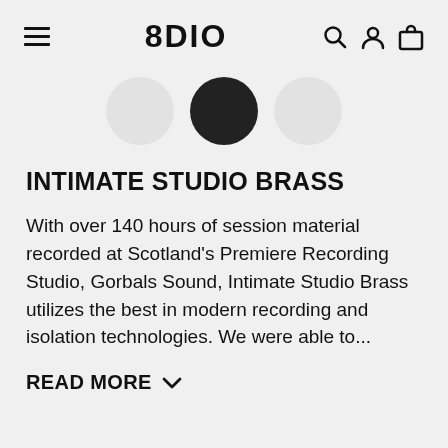8DIO
[Figure (illustration): Carousel navigation dots: three circles — left white, center dark/filled, right white — indicating a slideshow with the second item selected]
INTIMATE STUDIO BRASS
With over 140 hours of session material recorded at Scotland's Premiere Recording Studio, Gorbals Sound, Intimate Studio Brass utilizes the best in modern recording and isolation technologies. We were able to...
READ MORE ˅